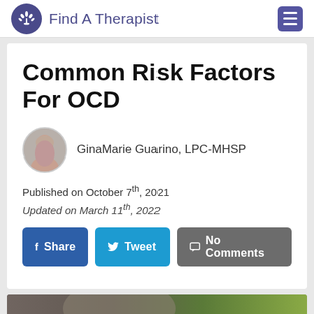Find A Therapist
Common Risk Factors For OCD
GinaMarie Guarino, LPC-MHSP
Published on October 7th, 2021
Updated on March 11th, 2022
[Figure (photo): Social share buttons: Share (Facebook), Tweet (Twitter), No Comments]
[Figure (photo): Bottom image strip showing a person outdoors with blurred green background]